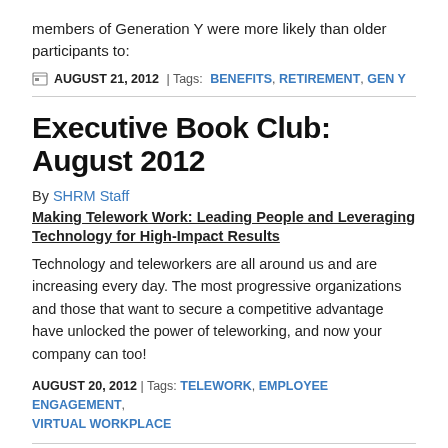members of Generation Y were more likely than older participants to:
AUGUST 21, 2012 | Tags: BENEFITS, RETIREMENT, GEN Y
Executive Book Club: August 2012
By SHRM Staff
Making Telework Work: Leading People and Leveraging Technology for High-Impact Results
Technology and teleworkers are all around us and are increasing every day. The most progressive organizations and those that want to secure a competitive advantage have unlocked the power of teleworking, and now your company can too!
AUGUST 20, 2012 | Tags: TELEWORK, EMPLOYEE ENGAGEMENT, VIRTUAL WORKPLACE